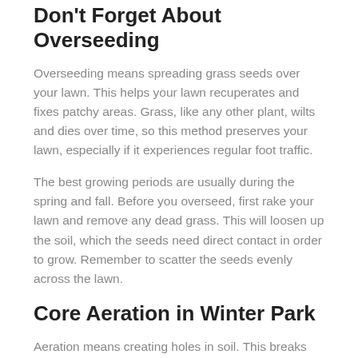Don't Forget About Overseeding
Overseeding means spreading grass seeds over your lawn. This helps your lawn recuperates and fixes patchy areas. Grass, like any other plant, wilts and dies over time, so this method preserves your lawn, especially if it experiences regular foot traffic.
The best growing periods are usually during the spring and fall. Before you overseed, first rake your lawn and remove any dead grass. This will loosen up the soil, which the seeds need direct contact in order to grow. Remember to scatter the seeds evenly across the lawn.
Core Aeration in Winter Park
Aeration means creating holes in soil. This breaks apart compacted soil and improving soil